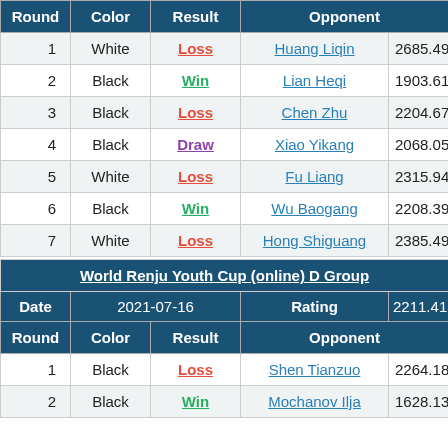| Round | Color | Result | Opponent |  |
| --- | --- | --- | --- | --- |
| 1 | White | Loss | Huang Liqin | 2685.49 |
| 2 | Black | Win | Lian Heqi | 1903.61 |
| 3 | Black | Loss | Chen Zhu | 2204.67 |
| 4 | Black | Draw | Xiao Yikang | 2068.05 |
| 5 | White | Loss | Fu Liang | 2315.94 |
| 6 | Black | Win | Wu Baogang | 2208.39 |
| 7 | White | Loss | Hong Shiguang | 2385.49 |
| World Renju Youth Cup (online) D Group |
| --- |
| Date | 2021-07-16 | Rating | 2211.41 |
| Round | Color | Result | Opponent |  |
| 1 | Black | Loss | Shen Tianzuo | 2264.18 |
| 2 | Black | Win | Mochanov Ilja | 1628.13 |